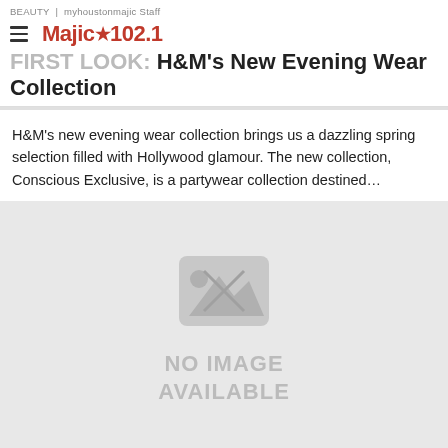BEAUTY | myhoustonmajic Staff
FIRST LOOK: H&M's New Evening Wear Collection
H&M's new evening wear collection brings us a dazzling spring selection filled with Hollywood glamour. The new collection, Conscious Exclusive, is a partywear collection destined…
[Figure (photo): No image available placeholder with broken image icon on grey background]
BEAUTY | myhoustonmajic Staff